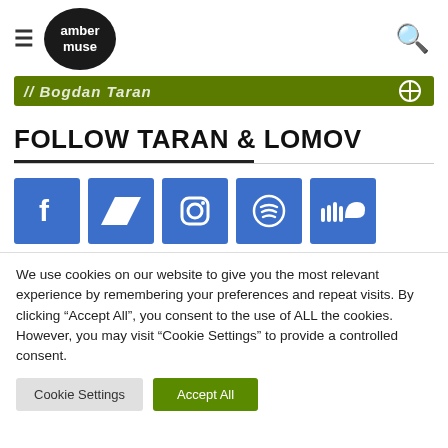amber muse
[Figure (illustration): Green navigation bar with italic bold white text partially visible, and a circular icon on the right]
FOLLOW TARAN & LOMOV
[Figure (illustration): Five blue social media icons: Facebook, Bandcamp, Instagram, Spotify, SoundCloud]
We use cookies on our website to give you the most relevant experience by remembering your preferences and repeat visits. By clicking "Accept All", you consent to the use of ALL the cookies. However, you may visit "Cookie Settings" to provide a controlled consent.